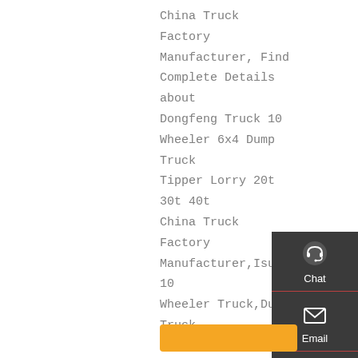China Truck Factory Manufacturer, Find Complete Details about Dongfeng Truck 10 Wheeler 6x4 Dump Truck Tipper Lorry 20t 30t 40t China Truck Factory Manufacturer,Isuzu 10 Wheeler Truck,Dump Truck 2x4 Second Hand,Used Wheeler Dump Trucks Dump Trucks Supplier or Manufacturer-Shandong Chengda Machinery …
[Figure (infographic): Dark sidebar with Chat, Email, Contact, and Top navigation icons]